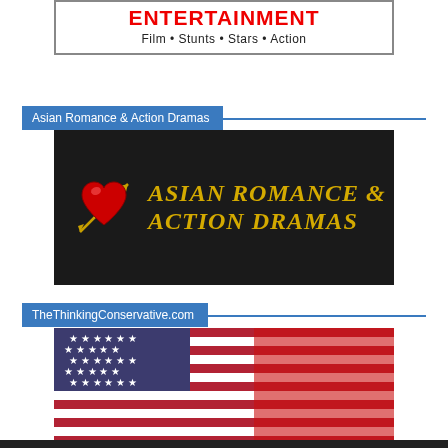[Figure (logo): Entertainment banner with red bold text 'ENTERTAINMENT' and subtitle 'Film • Stunts • Stars • Action' in a bordered box]
Asian Romance & Action Dramas
[Figure (logo): Asian Romance & Action Dramas logo with red heart pierced by golden arrow on dark background with golden text]
TheThinkingConservative.com
[Figure (logo): The Thinking Conservative banner with American flag background and text 'The Thinking Conservative - The Opportunity for a Different Opinion']